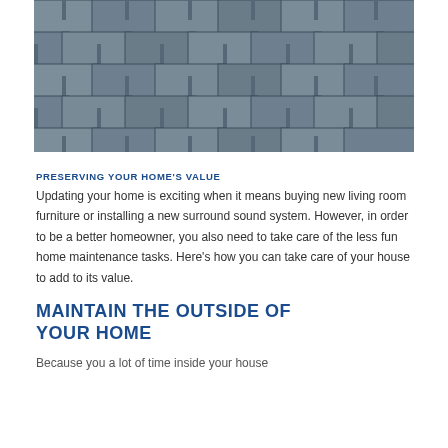[Figure (photo): Close-up photograph of grey/dark asphalt roof shingles arranged in overlapping pattern]
PRESERVING YOUR HOME'S VALUE
Updating your home is exciting when it means buying new living room furniture or installing a new surround sound system. However, in order to be a better homeowner, you also need to take care of the less fun home maintenance tasks. Here's how you can take care of your house to add to its value.
MAINTAIN THE OUTSIDE OF YOUR HOME
Because you a lot of time inside your house